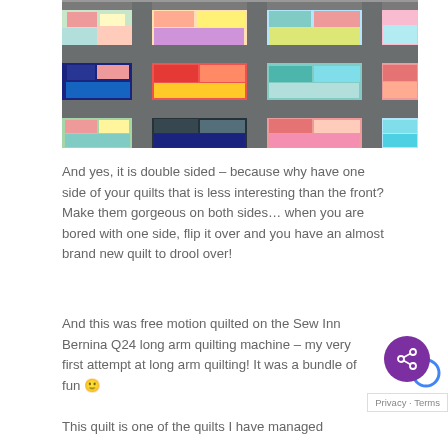[Figure (photo): Close-up photo of a colorful patchwork quilt with gray fabric sashing/strips crossing between blocks of various printed fabrics in red, teal, navy, green, orange, and floral patterns.]
And yes, it is double sided – because why have one side of your quilts that is less interesting than the front? Make them gorgeous on both sides… when you are bored with one side, flip it over and you have an almost brand new quilt to drool over!
And this was free motion quilted on the Sew Inn Bernina Q24 long arm quilting machine – my very first attempt at long arm quilting! It was a bundle of fun 🙂
This quilt is one of the quilts I have managed